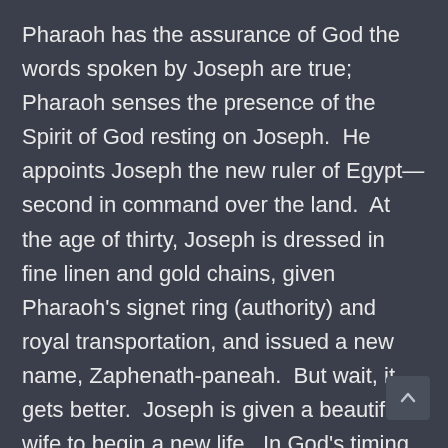Pharaoh has the assurance of God the words spoken by Joseph are true; Pharaoh senses the presence of the Spirit of God resting on Joseph.  He appoints Joseph the new ruler of Egypt—second in command over the land.  At the age of thirty, Joseph is dressed in fine linen and gold chains, given Pharaoh's signet ring (authority) and royal transportation, and issued a new name, Zaphenath-paneah.  But wait, it gets better.  Joseph is given a beautiful wife to begin a new life.  In God's timing, Joseph goes from being a slave who leads slaves in Pharaoh's prison to being the governor of Egypt who calls all the shots for the land.  Wow, that is a leadership